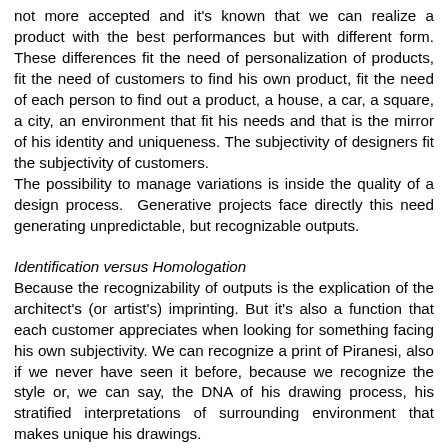not more accepted and it's known that we can realize a product with the best performances but with different form. These differences fit the need of personalization of products, fit the need of customers to find his own product, fit the need of each person to find out a product, a house, a car, a square, a city, an environment that fit his needs and that is the mirror of his identity and uniqueness. The subjectivity of designers fit the subjectivity of customers.
The possibility to manage variations is inside the quality of a design process.  Generative projects face directly this need generating unpredictable, but recognizable outputs.
Identification versus Homologation
Because the recognizability of outputs is the explication of the architect's (or artist's) imprinting. But it's also a function that each customer appreciates when looking for something facing his own subjectivity. We can recognize a print of Piranesi, also if we never have seen it before, because we recognize the style or, we can say, the DNA of his drawing process, his stratified interpretations of surrounding environment that makes unique his drawings.
Recognisable versus Anonymous
In the some way we need to identify our home when we go home, to identify our city and to love the link between its